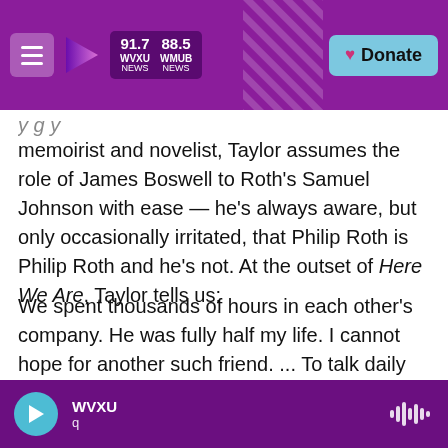WVXU 91.7 NEWS | WMUB 88.5 NEWS | Donate
memoirist and novelist, Taylor assumes the role of James Boswell to Roth's Samuel Johnson with ease — he's always aware, but only occasionally irritated, that Philip Roth is Philip Roth and he's not. At the outset of Here We Are, Taylor tells us:
We spent thousands of hours in each other's company. He was fully half my life. I cannot hope for another such friend. ... To talk daily with someone of such gifts had been a salvation.
Along with their conversations in Here We Are, Taylor summons up anecdotes and clear-eyed
WVXU q